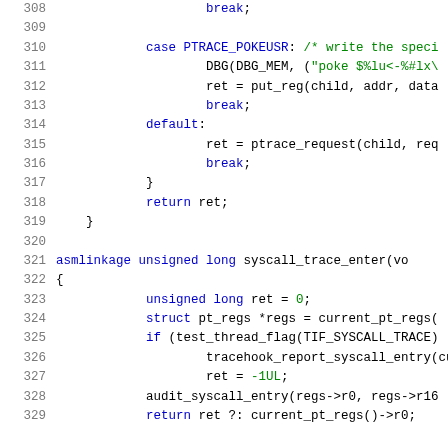[Figure (screenshot): Source code listing showing C code lines 308-329 with syntax highlighting. Blue keywords, green comments and strings, black function/variable names, gray line numbers.]